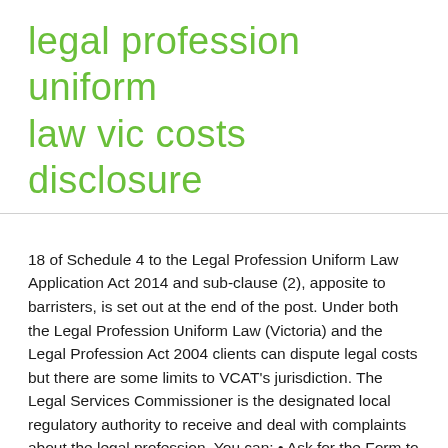legal profession uniform law vic costs disclosure
18 of Schedule 4 to the Legal Profession Uniform Law Application Act 2014 and sub-clause (2), apposite to barristers, is set out at the end of the post. Under both the Legal Profession Uniform Law (Victoria) and the Legal Profession Act 2004 clients can dispute legal costs but there are some limits to VCAT's jurisdiction. The Legal Services Commissioner is the designated local regulatory authority to receive and deal with complaints about the legal profession. You can: • Ask for the Form to be explained – You are entitled to have the information on the Form explained to you. Under the Uniform Law, a law practice must give an estimate of the total legal costs payable in the matter, and the basis on which costs will